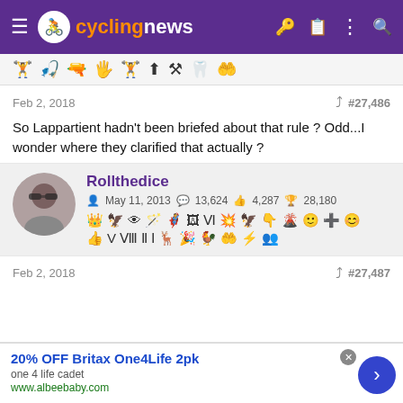cyclingnews
[Figure (other): Row of forum badge/achievement icons]
Feb 2, 2018   #27,486
So Lappartient hadn't been briefed about that rule ? Odd...I wonder where they clarified that actually ?
Rollthedice
May 11, 2013   13,624   4,287   28,180
[Figure (other): Row of forum badge/achievement icons for user Rollthedice]
Feb 2, 2018   #27,487
20% OFF Britax One4Life 2pk
one 4 life cadet
www.albeebaby.com